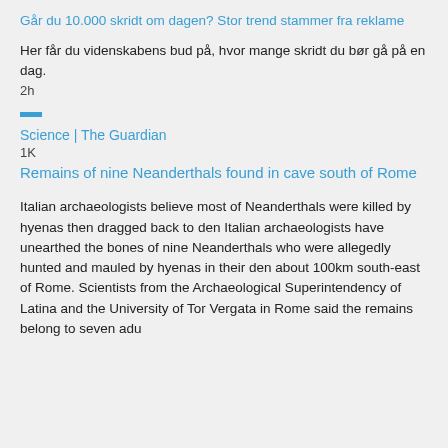Går du 10.000 skridt om dagen? Stor trend stammer fra reklame
Her får du videnskabens bud på, hvor mange skridt du bør gå på en dag.
2h
Science | The Guardian
1K
Remains of nine Neanderthals found in cave south of Rome
Italian archaeologists believe most of Neanderthals were killed by hyenas then dragged back to den Italian archaeologists have unearthed the bones of nine Neanderthals who were allegedly hunted and mauled by hyenas in their den about 100km south-east of Rome. Scientists from the Archaeological Superintendency of Latina and the University of Tor Vergata in Rome said the remains belong to seven adu